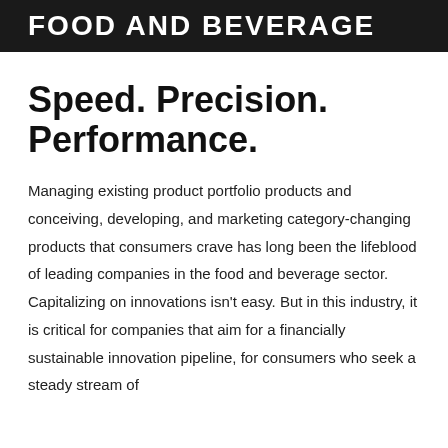FOOD AND BEVERAGE
Speed. Precision. Performance.
Managing existing product portfolio products and conceiving, developing, and marketing category-changing products that consumers crave has long been the lifeblood of leading companies in the food and beverage sector. Capitalizing on innovations isn't easy. But in this industry, it is critical for companies that aim for a financially sustainable innovation pipeline, for consumers who seek a steady stream of